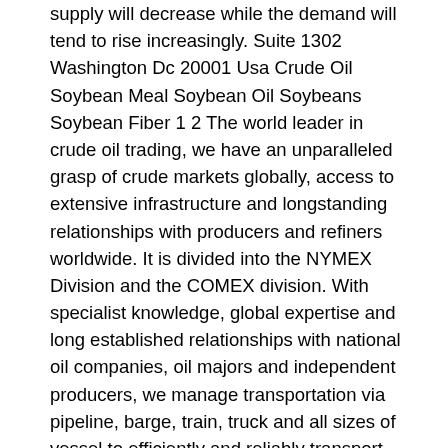supply will decrease while the demand will tend to rise increasingly. Suite 1302 Washington Dc 20001 Usa Crude Oil Soybean Meal Soybean Oil Soybeans Soybean Fiber 1 2 The world leader in crude oil trading, we have an unparalleled grasp of crude markets globally, access to extensive infrastructure and longstanding relationships with producers and refiners worldwide. It is divided into the NYMEX Division and the COMEX division. With specialist knowledge, global expertise and long established relationships with national oil companies, oil majors and independent producers, we manage transportation via pipeline, barge, train, truck and all sizes of vessel to efficiently and reliably transport crude to refiners worldwide. they record user activity and remember stateful information) and they get updated every time you visit a website. Another advantage of trading in these futures is that lot sizes are pretty small. Professional traders and hedgers dominate the energy futures